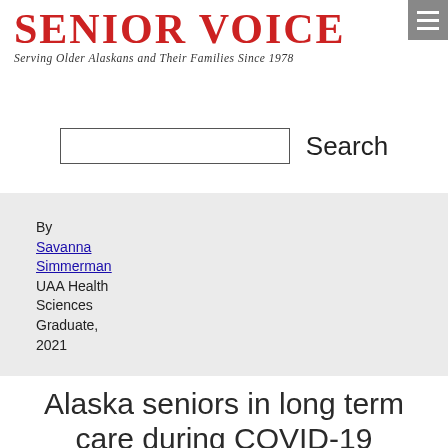SENIOR VOICE
Serving Older Alaskans and Their Families Since 1978
Search
By
Savanna Simmerman
UAA Health Sciences Graduate, 2021
Alaska seniors in long term care during COVID-19